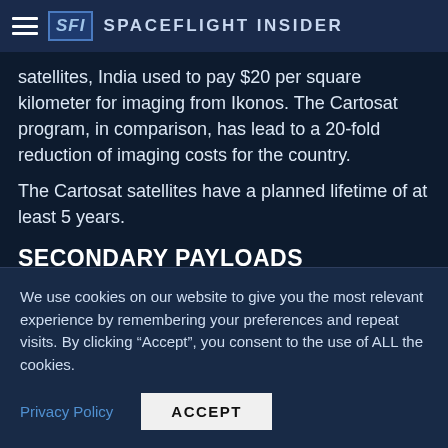SFI Spaceflight Insider
satellites, India used to pay $20 per square kilometer for imaging from Ikonos. The Cartosat program, in comparison, has lead to a 20-fold reduction of imaging costs for the country.
The Cartosat satellites have a planned lifetime of at least 5 years.
SECONDARY PAYLOADS
India has positioned itself as a leader in launches featuring multiple payload deployments. In fact, ISRO
We use cookies on our website to give you the most relevant experience by remembering your preferences and repeat visits. By clicking “Accept”, you consent to the use of ALL the cookies.
Privacy Policy
ACCEPT